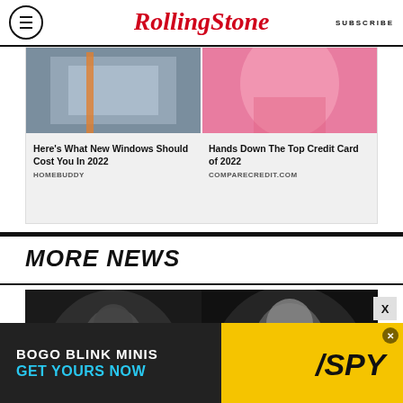RollingStone | SUBSCRIBE
[Figure (photo): Advertisement block with two images: left showing construction/windows scene, right showing woman in pink/orange. Below: ad text for home windows and credit card offers.]
Here's What New Windows Should Cost You In 2022
HOMEBUDDY
Hands Down The Top Credit Card of 2022
COMPARECREDIT.COM
MORE NEWS
[Figure (photo): Two side-by-side dark photos of people, bottom portion of page]
[Figure (photo): Bottom advertisement banner: BOGO BLINK MINIS GET YOURS NOW with SPY logo on yellow background]